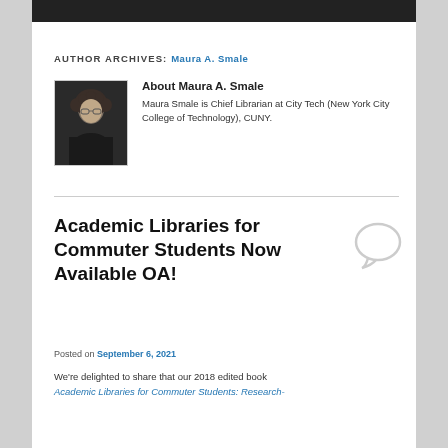AUTHOR ARCHIVES: Maura A. Smale
[Figure (photo): Headshot photo of Maura A. Smale, a woman with curly hair and glasses wearing dark clothing]
About Maura A. Smale
Maura Smale is Chief Librarian at City Tech (New York City College of Technology), CUNY.
Academic Libraries for Commuter Students Now Available OA!
Posted on September 6, 2021
We're delighted to share that our 2018 edited book Academic Libraries for Commuter Students: Research-